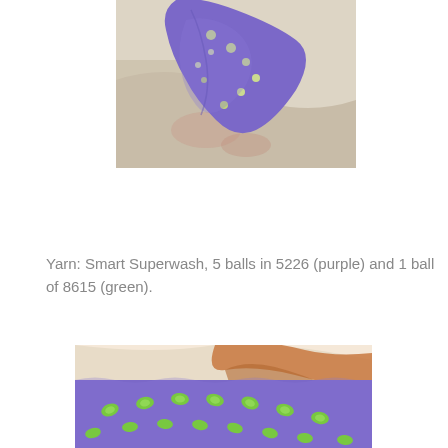[Figure (photo): A purple knitted item with green/white embroidered dots, laid on a light background with some reddish stains]
Yarn:  Smart Superwash, 5 balls in 5226 (purple) and 1 ball of 8615 (green).
[Figure (photo): Close-up of a purple knitted garment with green leaf/floral embroidered motifs along the neckline, with a person's red hair visible]